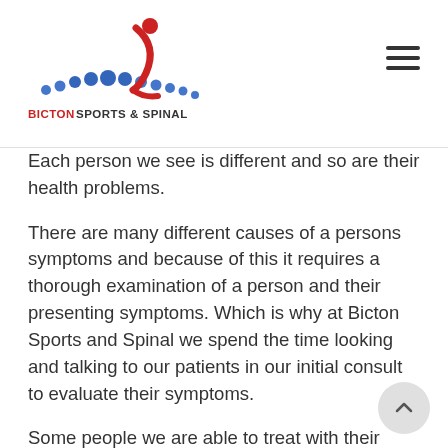BICTON SPORTS & SPINAL
Each person we see is different and so are their health problems.
There are many different causes of a persons symptoms and because of this it requires a thorough examination of a person and their presenting symptoms. Which is why at Bicton Sports and Spinal we spend the time looking and talking to our patients in our initial consult to evaluate their symptoms.
Some people we are able to treat with their presenting condition, while others need to be referred on for further evaluation by different